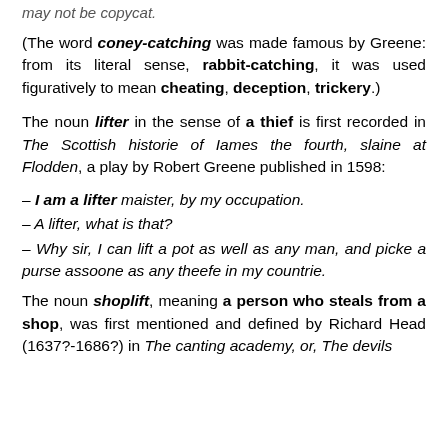may not be copycat.
(The word coney-catching was made famous by Greene: from its literal sense, rabbit-catching, it was used figuratively to mean cheating, deception, trickery.)
The noun lifter in the sense of a thief is first recorded in The Scottish historie of Iames the fourth, slaine at Flodden, a play by Robert Greene published in 1598:
– I am a lifter maister, by my occupation.
– A lifter, what is that?
– Why sir, I can lift a pot as well as any man, and picke a purse assoone as any theefe in my countrie.
The noun shoplift, meaning a person who steals from a shop, was first mentioned and defined by Richard Head (1637?-1686?) in The canting academy, or, The devils cabinet opened, …